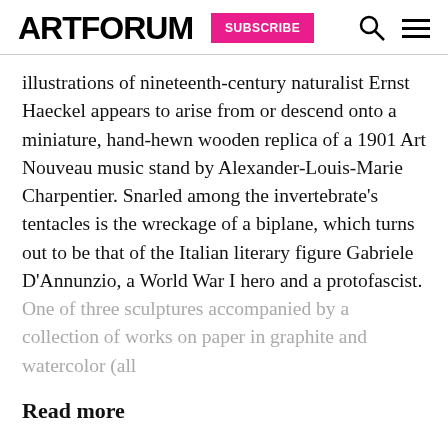ARTFORUM SUBSCRIBE
illustrations of nineteenth-century naturalist Ernst Haeckel appears to arise from or descend onto a miniature, hand-hewn wooden replica of a 1901 Art Nouveau music stand by Alexander-Louis-Marie Charpentier. Snarled among the invertebrate’s tentacles is the wreckage of a biplane, which turns out to be that of the Italian literary figure Gabriele D’Annunzio, a World War I hero and a protofascist. One of three sculptures accompanied by a collection of works on paper in graphite and watercolor (all
Read more